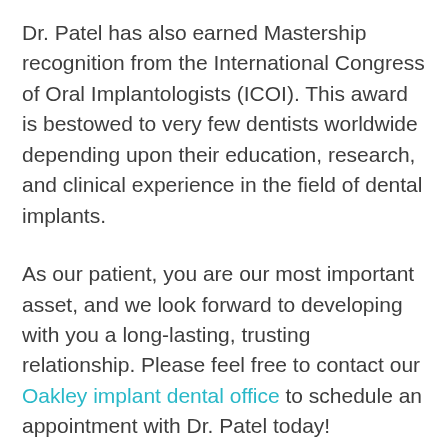Dr. Patel has also earned Mastership recognition from the International Congress of Oral Implantologists (ICOI). This award is bestowed to very few dentists worldwide depending upon their education, research, and clinical experience in the field of dental implants.
As our patient, you are our most important asset, and we look forward to developing with you a long-lasting, trusting relationship. Please feel free to contact our Oakley implant dental office to schedule an appointment with Dr. Patel today!